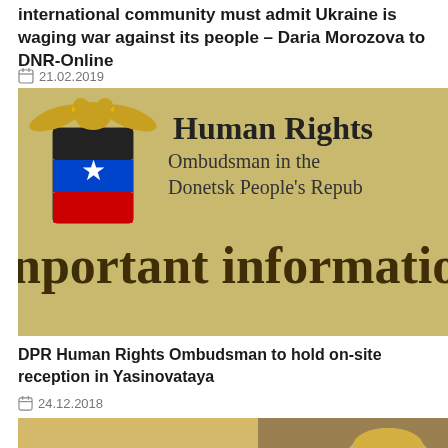international community must admit Ukraine is waging war against its people – Daria Morozova to DNR-Online
21.02.2019
[Figure (screenshot): Human Rights Ombudsman in the Donetsk People's Republic banner with coat of arms logo and 'important information' text]
DPR Human Rights Ombudsman to hold on-site reception in Yasinovataya
24.12.2018
[Figure (screenshot): Ask the [Ombudsman] banner with image of a blonde woman in dark suit, with reCAPTCHA overlay]